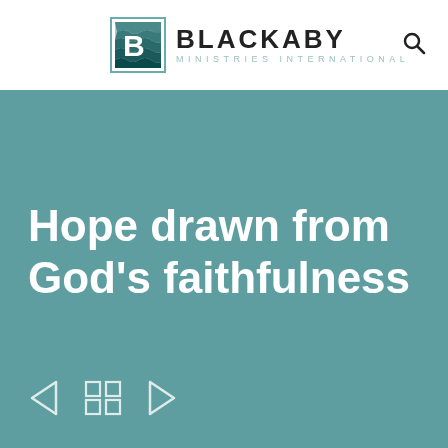[Figure (logo): Blackaby Ministries International logo with stylized B in a bordered box]
BLACKABY MINISTRIES INTERNATIONAL
Hope drawn from God's faithfulness
[Figure (other): Navigation controls: back arrow, grid icon, forward arrow]